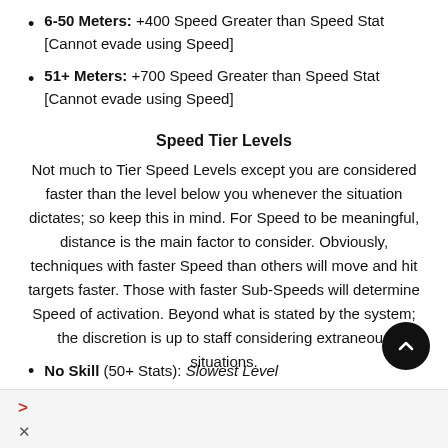6-50 Meters: +400 Speed Greater than Speed Stat [Cannot evade using Speed]
51+ Meters: +700 Speed Greater than Speed Stat [Cannot evade using Speed]
Speed Tier Levels
Not much to Tier Speed Levels except you are considered faster than the level below you whenever the situation dictates; so keep this in mind. For Speed to be meaningful, distance is the main factor to consider. Obviously, techniques with faster Speed than others will move and hit targets faster. Those with faster Sub-Speeds will determine Speed of activation. Beyond what is stated by the system; the discretion is up to staff considering extraneous situations.
No Skill (50+ Stats): Slowest Level